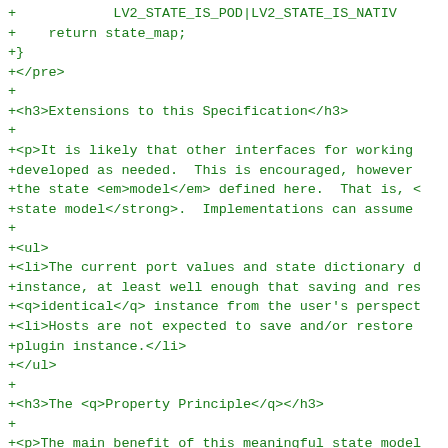+ LV2_STATE_IS_POD|LV2_STATE_IS_NATIVE
+    return state_map;
+}
+</pre>
+
+<h3>Extensions to this Specification</h3>
+
+<p>It is likely that other interfaces for working with
+developed as needed.  This is encouraged, however
+the state <em>model</em> defined here.  That is, <
+state model</strong>.  Implementations can assume
+
+<ul>
+<li>The current port values and state dictionary d
+instance, at least well enough that saving and res
+<q>identical</q> instance from the user's perspect
+<li>Hosts are not expected to save and/or restore
+plugin instance.</li>
+</ul>
+
+<h3>The <q>Property Principle</q></h3>
+
+<p>The main benefit of this meaningful state model
+plugin control/query mechanism.  For plugins that
+than simple control ports, instead of defining a s
+properties whose values can be set appropriately.
+control and save that state <q>for free</q>, since
+commands <em>and</em> a set of properties for stor
+particular, this is a good way for UIs to achieve
+plugins.</p>